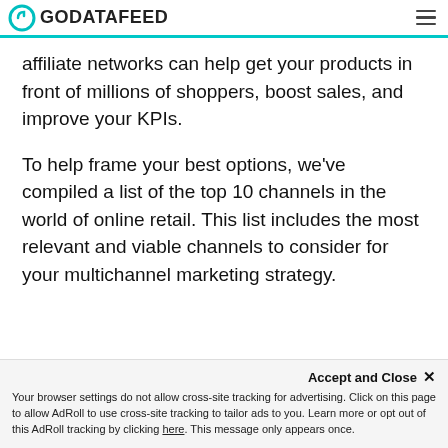GODATAFEED
affiliate networks can help get your products in front of millions of shoppers, boost sales, and improve your KPIs.
To help frame your best options, we've compiled a list of the top 10 channels in the world of online retail. This list includes the most relevant and viable channels to consider for your multichannel marketing strategy.
Accept and Close ✕ Your browser settings do not allow cross-site tracking for advertising. Click on this page to allow AdRoll to use cross-site tracking to tailor ads to you. Learn more or opt out of this AdRoll tracking by clicking here. This message only appears once.